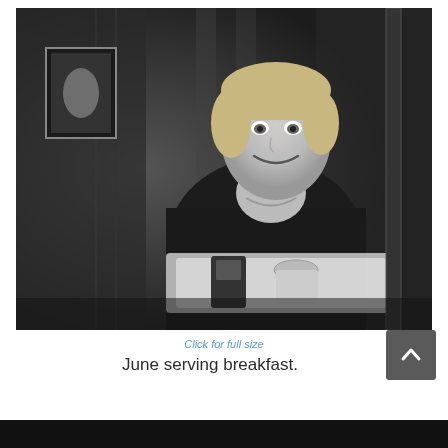[Figure (photo): Black and white photograph of a woman named June smiling and holding a tray, serving breakfast. She has short blonde hair and is wearing a dark top with a necklace. There is wallpaper in the background and a framed picture on the wall.]
Click for full size
June serving breakfast.